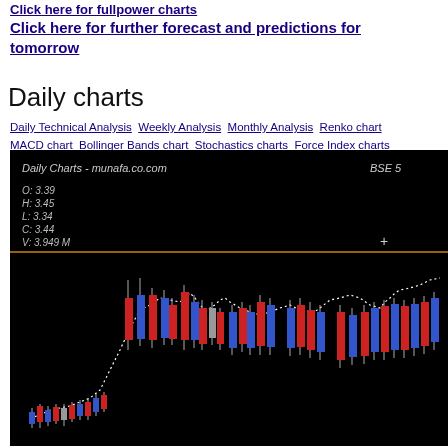Click here for fullpower charts
Click here for further forecast and predictions for tomorrow
Daily charts
Daily Technical Analysis  Weekly Analysis  Monthly Analysis  Renko chart  MACD chart  Bollinger Bands chart  Stochastics charts  Force Index charts
[Figure (continuous-plot): Daily candlestick chart from munafa.co.com showing BSE stock price data with OHLCV values (O: 3.39, H: 3.45, L: 3.34, C: 3.44, V: 3.949 M), red and blue candlesticks with dotted white moving average line on black background]